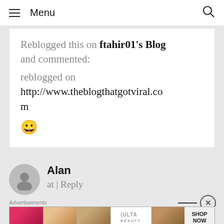Menu
Reblogged this on ftahir01's Blog and commented:
reblogged on http://www.theblogthatgotviral.com
😀
Alan
at | Reply
[Figure (other): Advertisements banner - Ulta Beauty ad with makeup images and SHOP NOW call to action]